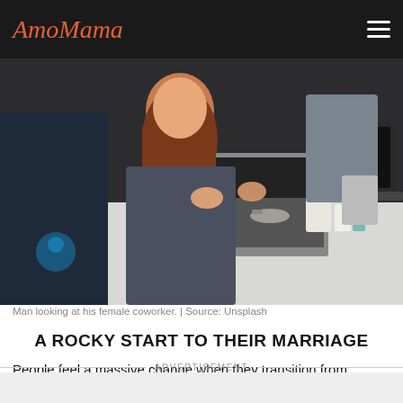AmoMama
[Figure (photo): Man looking at his female coworker at a desk with laptops and office supplies]
Man looking at his female coworker. | Source: Unsplash
A ROCKY START TO THEIR MARRIAGE
People feel a massive change when they transition from having a relationship with their partner to moving in as a married couple. The couple in question felt the same. The man recalled: